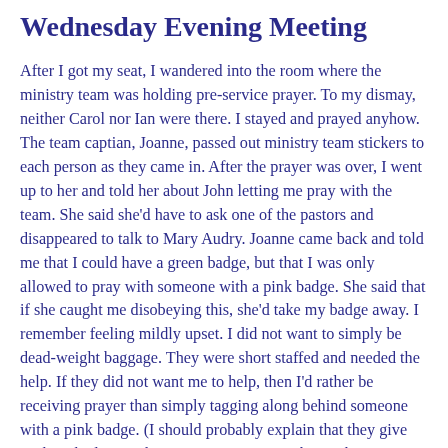Wednesday Evening Meeting
After I got my seat, I wandered into the room where the ministry team was holding pre-service prayer. To my dismay, neither Carol nor Ian were there. I stayed and prayed anyhow. The team captian, Joanne, passed out ministry team stickers to each person as they came in. After the prayer was over, I went up to her and told her about John letting me pray with the team. She said she'd have to ask one of the pastors and disappeared to talk to Mary Audry. Joanne came back and told me that I could have a green badge, but that I was only allowed to pray with someone with a pink badge. She said that if she caught me disobeying this, she'd take my badge away. I remember feeling mildly upset. I did not want to simply be dead-weight baggage. They were short staffed and needed the help. If they did not want me to help, then I'd rather be receiving prayer than simply tagging along behind someone with a pink badge. (I should probably explain that they give stick on badges to their ministry team members. The ones